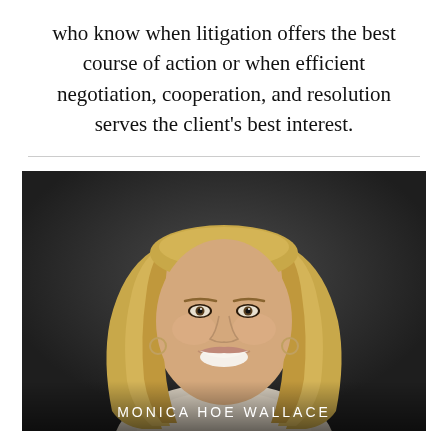who know when litigation offers the best course of action or when efficient negotiation, cooperation, and resolution serves the client's best interest.
[Figure (photo): Professional headshot of Monica Hoe Wallace, a blonde woman smiling, against a dark background. Her name appears in white uppercase letters at the bottom of the photo.]